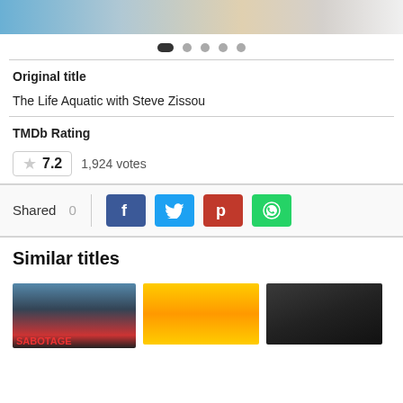[Figure (photo): Top strip showing partial photo of people]
[Figure (infographic): Pagination dots: one active pill and four circle dots]
Original title
The Life Aquatic with Steve Zissou
TMDb Rating
7.2   1,924 votes
Shared 0
Similar titles
[Figure (photo): Thumbnail for Sabotage]
[Figure (photo): Thumbnail for Scooby-Doo style movie]
[Figure (photo): Thumbnail dark photo]